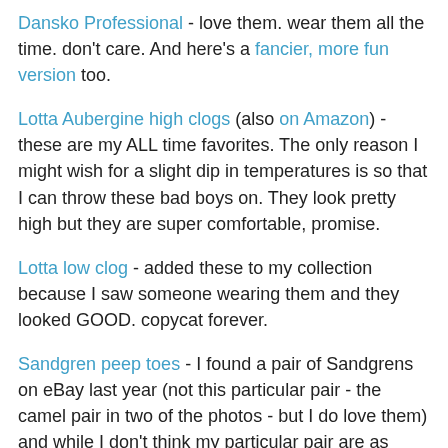Dansko Professional - love them. wear them all the time. don't care. And here's a fancier, more fun version too.
Lotta Aubergine high clogs (also on Amazon) - these are my ALL time favorites. The only reason I might wish for a slight dip in temperatures is so that I can throw these bad boys on. They look pretty high but they are super comfortable, promise.
Lotta low clog - added these to my collection because I saw someone wearing them and they looked GOOD. copycat forever.
Sandgren peep toes - I found a pair of Sandgrens on eBay last year (not this particular pair - the camel pair in two of the photos - but I do love them) and while I don't think my particular pair are as comfortable as my others ... I still wore them all the time when I was pregnant and it wasn't blazing hot outside.
Sandgren Rio Grande - Maybe I'm breaking a fashion rule here but I would totally wear these with tights.